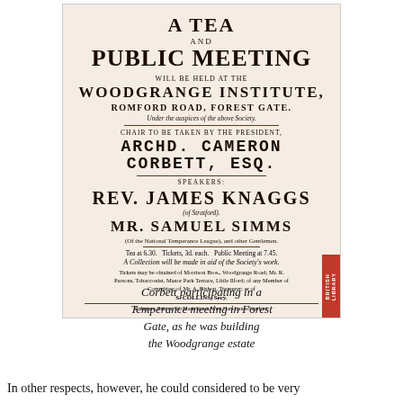[Figure (photo): Scan of a Victorian-era printed handbill/poster for a Tea and Public Meeting at Woodgrange Institute, Romford Road, Forest Gate. Features speakers including Archd. Cameron Corbett Esq., Rev. James Knaggs, and Mr. Samuel Simms. Includes details about tickets, collection, and a British Library stamp overlay.]
Corbett participating in a Temperance meeting in Forest Gate, as he was building the Woodgrange estate
In other respects, however, he could considered to be very